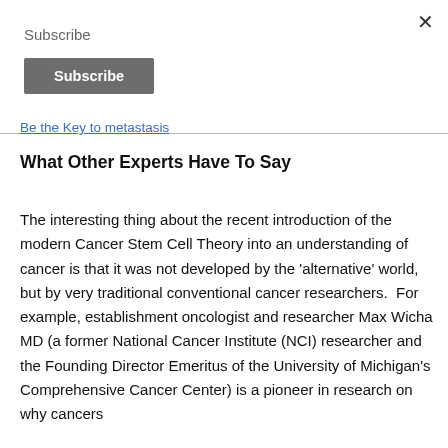×
Subscribe
Subscribe
Be the Key to metastasis
What Other Experts Have To Say
The interesting thing about the recent introduction of the modern Cancer Stem Cell Theory into an understanding of cancer is that it was not developed by the 'alternative' world, but by very traditional conventional cancer researchers.  For example, establishment oncologist and researcher Max Wicha MD (a former National Cancer Institute (NCI) researcher and the Founding Director Emeritus of the University of Michigan's Comprehensive Cancer Center) is a pioneer in research on why cancers